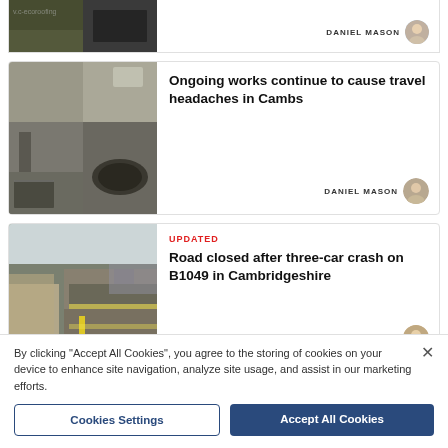[Figure (photo): Partial news card top with v.c-ecoroofing image and Daniel Mason author attribution]
[Figure (photo): Two road/pothole images side by side for news card about ongoing works in Cambs]
Ongoing works continue to cause travel headaches in Cambs
DANIEL MASON
UPDATED
[Figure (photo): Road with stone cottages for news card about road closed after three-car crash on B1049]
Road closed after three-car crash on B1049 in Cambridgeshire
BEN JOLLEY
By clicking “Accept All Cookies”, you agree to the storing of cookies on your device to enhance site navigation, analyze site usage, and assist in our marketing efforts.
Cookies Settings
Accept All Cookies